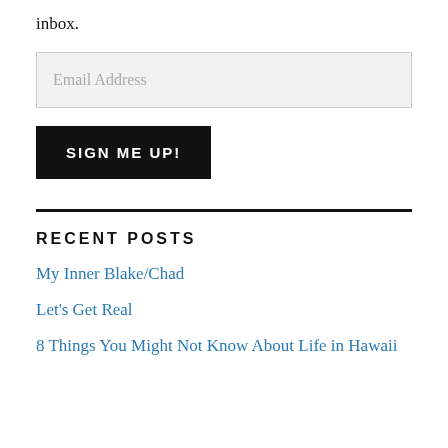inbox.
Email Address
SIGN ME UP!
RECENT POSTS
My Inner Blake/Chad
Let's Get Real
8 Things You Might Not Know About Life in Hawaii